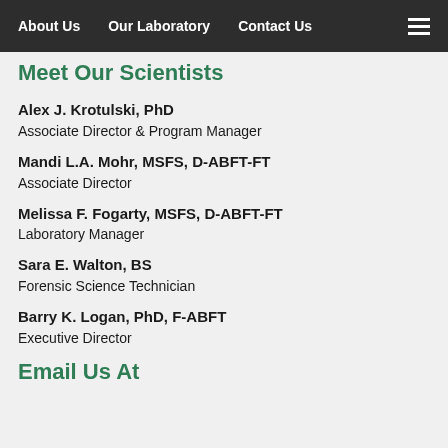About Us   Our Laboratory   Contact Us
Meet Our Scientists
Alex J. Krotulski, PhD
Associate Director & Program Manager
Mandi L.A. Mohr, MSFS, D-ABFT-FT
Associate Director
Melissa F. Fogarty, MSFS, D-ABFT-FT
Laboratory Manager
Sara E. Walton, BS
Forensic Science Technician
Barry K. Logan, PhD, F-ABFT
Executive Director
Email Us At